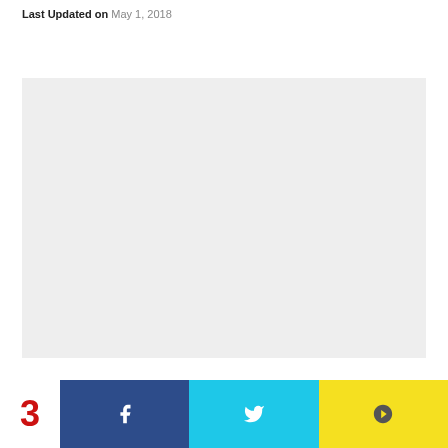Last Updated on May 1, 2018
[Figure (other): Large empty light gray placeholder box]
3 [share buttons: Facebook, Twitter, Pinterest]